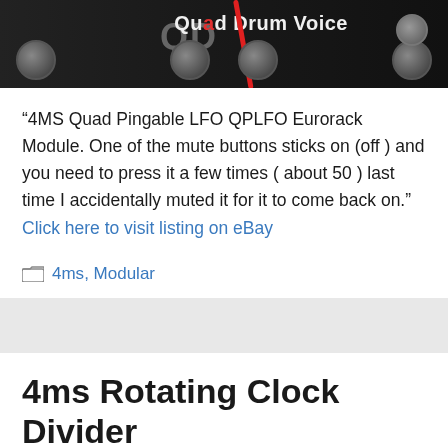[Figure (photo): Close-up photo of a dark electronic Eurorack module panel showing knobs, the text 'Quad Drum Voice', a red wire, and a skull button]
“4MS Quad Pingable LFO QPLFO Eurorack Module. One of the mute buttons sticks on (off ) and you need to press it a few times ( about 50 ) last time I accidentally muted it for it to come back on.” Click here to visit listing on eBay
4ms, Modular
4ms Rotating Clock Divider with R.C.D. Breakout